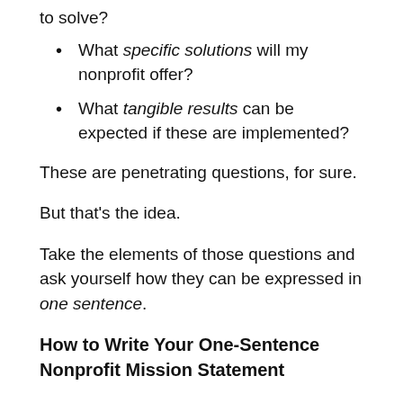to solve?
What specific solutions will my nonprofit offer?
What tangible results can be expected if these are implemented?
These are penetrating questions, for sure.
But that’s the idea.
Take the elements of those questions and ask yourself how they can be expressed in one sentence.
How to Write Your One-Sentence Nonprofit Mission Statement
We’re going to take your brilliant ideas from the previous questions and apply them to a simple formula that spins the dynamic, so that anyone who is remotely interested in what you’re doing